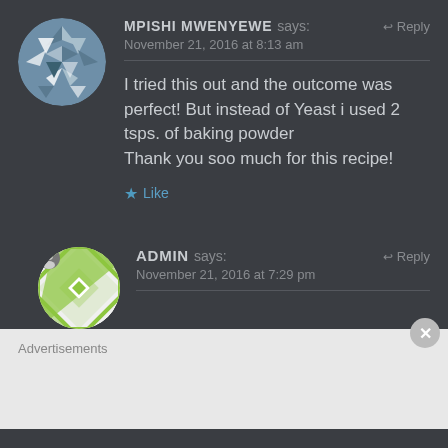MPISHI MWENYEWE says: ↩ Reply
November 21, 2016 at 8:13 am
I tried this out and the outcome was perfect! But instead of Yeast i used 2 tsps. of baking powder
Thank you soo much for this recipe!
★ Like
ADMIN says: ↩ Reply
November 21, 2016 at 7:29 pm
Advertisements